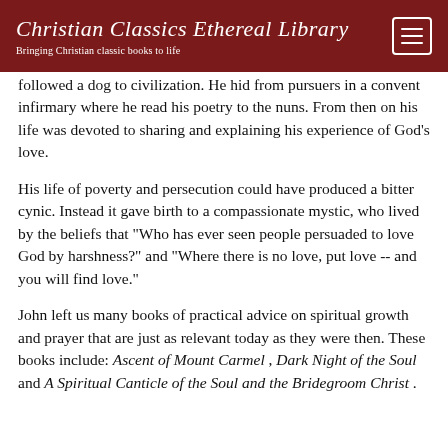Christian Classics Ethereal Library
Bringing Christian classic books to life
followed a dog to civilization. He hid from pursuers in a convent infirmary where he read his poetry to the nuns. From then on his life was devoted to sharing and explaining his experience of God's love.
His life of poverty and persecution could have produced a bitter cynic. Instead it gave birth to a compassionate mystic, who lived by the beliefs that "Who has ever seen people persuaded to love God by harshness?" and "Where there is no love, put love -- and you will find love."
John left us many books of practical advice on spiritual growth and prayer that are just as relevant today as they were then. These books include: Ascent of Mount Carmel , Dark Night of the Soul and A Spiritual Canticle of the Soul and the Bridegroom Christ .